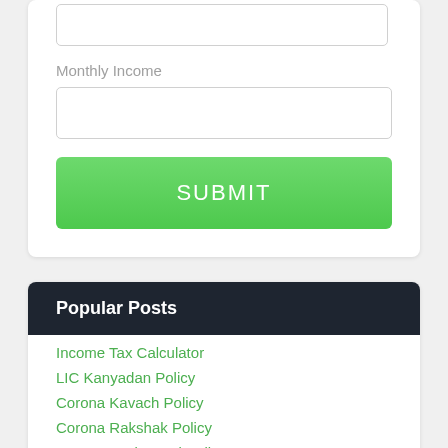Monthly Income
SUBMIT
Popular Posts
Income Tax Calculator
LIC Kanyadan Policy
Corona Kavach Policy
Corona Rakshak Policy
Arogya Sanjeevani Policy